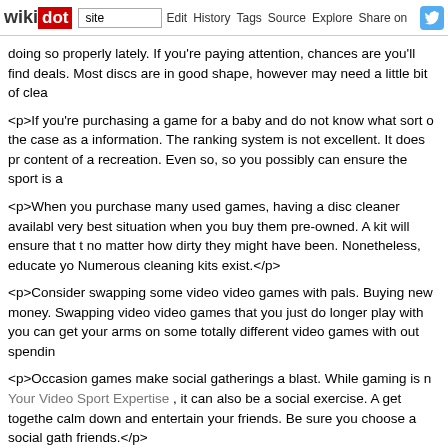wikidot | site | Edit | History | Tags | Source | Explore | Share on
doing so properly lately. If you're paying attention, chances are you'll find deals. Most discs are in good shape, however may need a little bit of clea
<p>If you're purchasing a game for a baby and do not know what sort of the case as a information. The ranking system is not excellent. It does pr content of a recreation. Even so, so you possibly can ensure the sport is a
<p>When you purchase many used games, having a disc cleaner available very best situation when you buy them pre-owned. A kit will ensure that t no matter how dirty they might have been. Nonetheless, educate yo Numerous cleaning kits exist.</p>
<p>Consider swapping some video video games with pals. Buying new money. Swapping video video games that you just do longer play with you can get your arms on some totally different video games with out spendin
<p>Occasion games make social gatherings a blast. While gaming is n Your Video Sport Expertise , it can also be a social exercise. A get togethe calm down and entertain your friends. Be sure you choose a social gath friends.</p>
<p>Video games can be a enjoyable method to spend time, however human interaction that children want with a view to grow up whole Recommendation To better Video Gaming of time for play with other c properly. The isolation that video games sometimes promotes may be da </p>
<p>Buy used video games to get even more bang for your buck. Ma owned copies of console games for half the value of a new copy. If you t